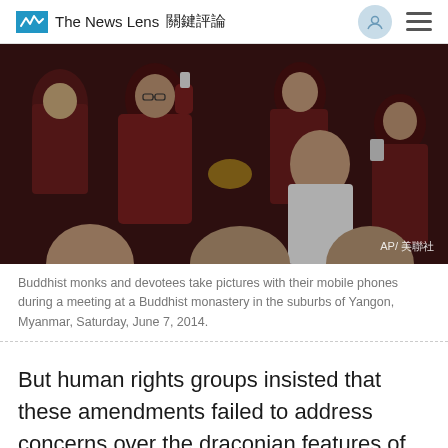The News Lens 關鍵評論
[Figure (photo): Buddhist monks and devotees in dark red robes taking pictures with mobile phones at a gathering inside a Buddhist monastery, with a man in a white t-shirt visible. AP photo watermark visible in the lower right corner.]
Buddhist monks and devotees take pictures with their mobile phones during a meeting at a Buddhist monastery in the suburbs of Yangon, Myanmar, Saturday, June 7, 2014.
But human rights groups insisted that these amendments failed to address concerns over the draconian features of the law.